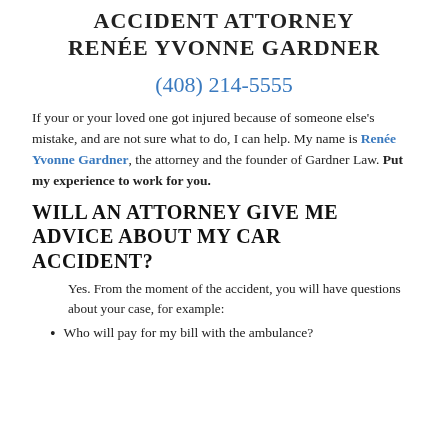ACCIDENT ATTORNEY RENÉE YVONNE GARDNER
(408) 214-5555
If your or your loved one got injured because of someone else's mistake, and are not sure what to do, I can help. My name is Renée Yvonne Gardner, the attorney and the founder of Gardner Law. Put my experience to work for you.
WILL AN ATTORNEY GIVE ME ADVICE ABOUT MY CAR ACCIDENT?
Yes. From the moment of the accident, you will have questions about your case, for example:
Who will pay for my bill with the ambulance?